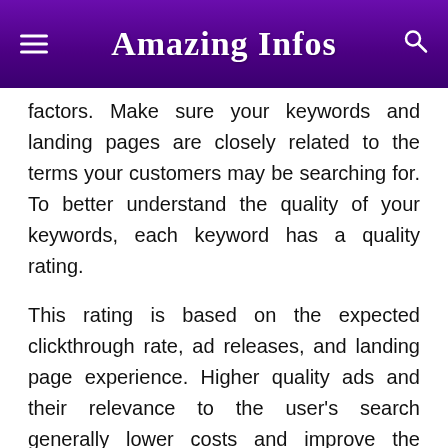Amazing Infos
factors. Make sure your keywords and landing pages are closely related to the terms your customers may be searching for. To better understand the quality of your keywords, each keyword has a quality rating.
This rating is based on the expected clickthrough rate, ad releases, and landing page experience. Higher quality ads and their relevance to the user's search generally lower costs and improve the position of the ads.
Know about some best strategies for Google ads